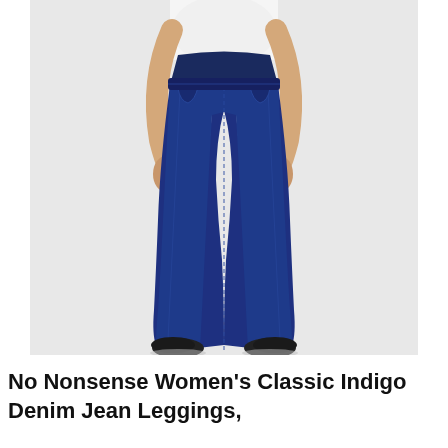[Figure (photo): A woman wearing dark indigo denim jean leggings with a white top and black flats. The photo is cropped to show from the torso down to the feet, showing the slim-fit pull-on jeans with front pockets and visible stitching.]
No Nonsense Women's Classic Indigo Denim Jean Leggings,